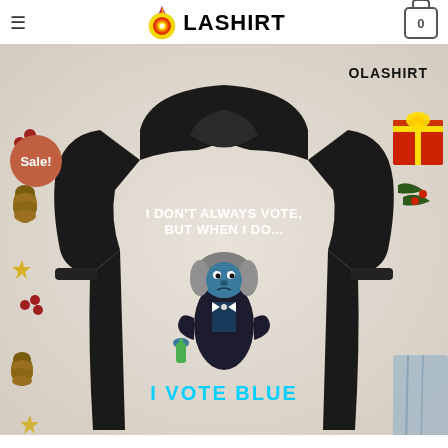OLASHIRT
[Figure (photo): Product photo of a black sweatshirt with text 'I DON'T ALWAYS VOTE, BUT WHEN I DO... I VOTE BLUE' and a cartoon Bigfoot character in a suit. The photo has a holiday-themed background with pinecones, berries, stars, and a red gift box. A 'Sale!' badge is in the upper left corner and 'OLASHIRT' watermark in the upper right.]